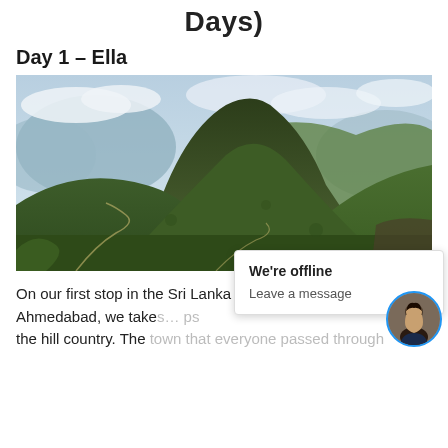Days)
Day 1 – Ella
[Figure (photo): Panoramic mountain landscape photo of Ella, Sri Lanka, showing green forested hills, a prominent peak, winding road below, and partly cloudy sky.]
On our first stop in the Sri Lanka tour packages from Ahmedabad, we take … sp… the hill country. The town that everyone passed through